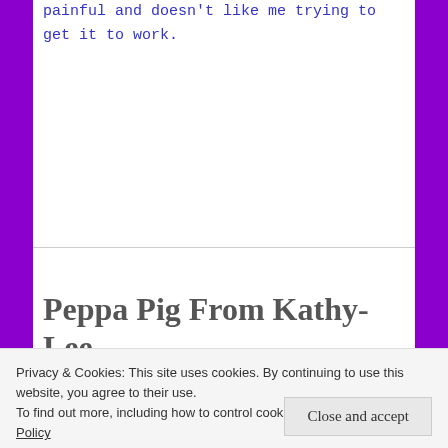painful and doesn't like me trying to get it to work.
Peppa Pig From Kathy-Lee
DECEMBER 27, 2016 ~ LEAVE A COMMENT
[Figure (illustration): Peppa Pig cartoon character illustration showing the pink pig with glasses]
Privacy & Cookies: This site uses cookies. By continuing to use this website, you agree to their use. To find out more, including how to control cookies, see here: Cookie Policy
Close and accept